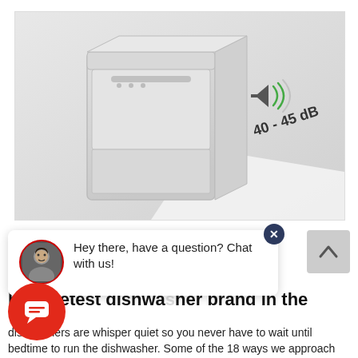[Figure (illustration): Illustration of a dishwasher appliance with a sound icon showing waves and the text '40 - 45 dB' indicating quiet operation noise level.]
Hey there, have a question? Chat with us!
he quietest dishwasher brand in the
dishwashers are whisper quiet so you never have to wait until bedtime to run the dishwasher. Some of the 18 ways we approach noise reduction